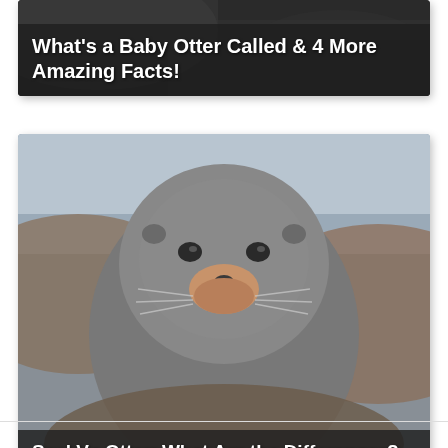[Figure (photo): Article thumbnail card with dark rocky background. Title overlay reads: What's a Baby Otter Called & 4 More Amazing Facts!]
[Figure (photo): Article thumbnail card showing a close-up photo of a seal (fur seal) looking at the camera against a rocky background. Title overlay reads: Seal Vs Otter: What Are the Differences?]